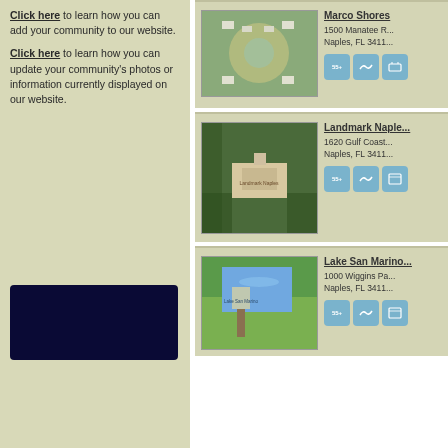Click here to learn how you can add your community to our website.
Click here to learn how you can update your community's photos or information currently displayed on our website.
[Figure (photo): Dark navy blue box/advertisement block]
[Figure (photo): Community listing card with aerial photo - Marco Shores]
Marco Shores
1500 Manatee R...
Naples, FL 3411...
[Figure (photo): Community listing card with entrance sign photo - Landmark Naples]
Landmark Naple...
1620 Gulf Coast...
Naples, FL 3411...
[Figure (photo): Community listing card with sign photo - Lake San Marino]
Lake San Marino...
1000 Wiggins Pa...
Naples, FL 3411...